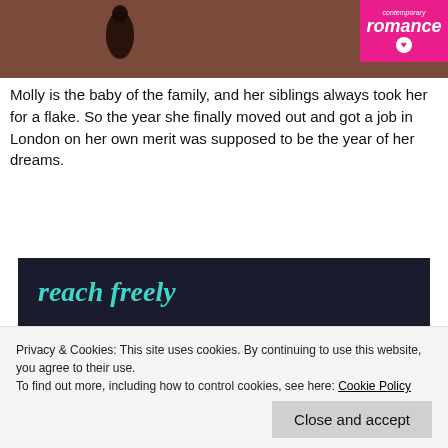[Figure (photo): Top portion of a book cover image showing a dark silhouette figure against a reddish-brown background, with a contemporary romance badge in the top right corner]
Molly is the baby of the family, and her siblings always took her for a flake. So the year she finally moved out and got a job in London on her own merit was supposed to be the year of her dreams.
[Figure (screenshot): Advertisement banner with dark navy background showing text 'reach freely' and 'Make money selling online courses.' with Sensei logo and 'Powered by WordPress.com' at bottom]
Privacy & Cookies: This site uses cookies. By continuing to use this website, you agree to their use.
To find out more, including how to control cookies, see here: Cookie Policy
Close and accept